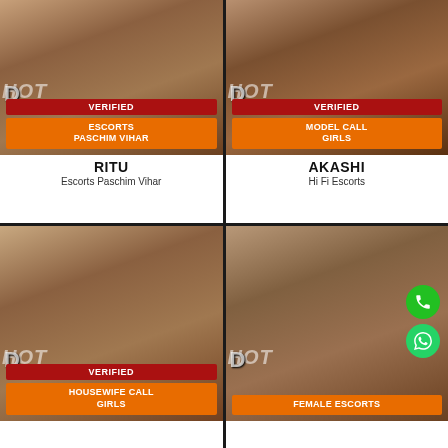[Figure (photo): Card for Ritu - Escorts Paschim Vihar with VERIFIED badge and orange ESCORTS PASCHIM VIHAR category label]
[Figure (photo): Card for Akashi - Hi Fi Escorts with VERIFIED badge and orange MODEL CALL GIRLS category label]
[Figure (photo): Card with VERIFIED badge and orange HOUSEWIFE CALL GIRLS category label]
[Figure (photo): Card with orange FEMALE ESCORTS category label and phone/whatsapp floating buttons]